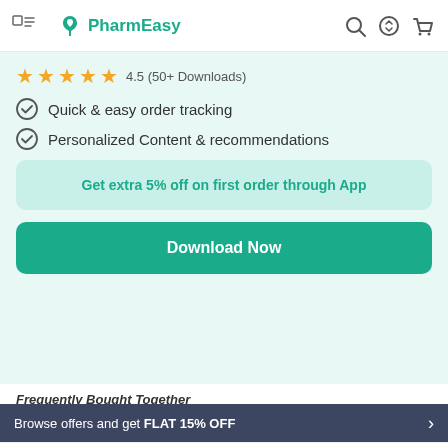PharmEasy
4.5 (50+ Downloads)
Quick & easy order tracking
Personalized Content & recommendations
Get extra 5% off on first order through App
Download Now
Frequently Bought Together
Browse offers and get FLAT 15% OFF
Dermal Oint 10gm ₹5.1 15% OFF
Add To Cart